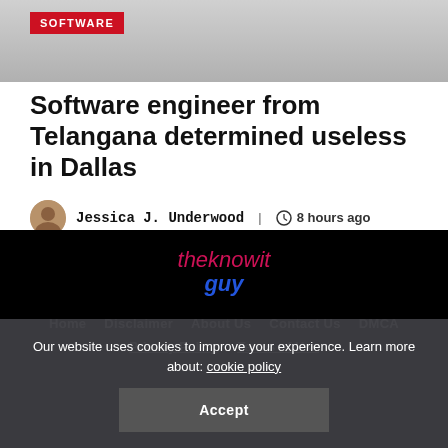SOFTWARE
Software engineer from Telangana determined useless in Dallas
Jessica J. Underwood | 8 hours ago
Load More
[Figure (logo): theknowit guy logo in pink/red and blue italic text on black background]
Home   Disclaimer   About Us   Contact Us   DMCA
Privacy Policy   Terms of Use
Our website uses cookies to improve your experience. Learn more about: cookie policy
Accept